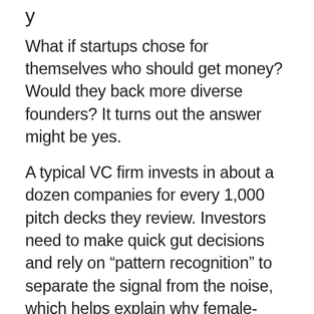What if startups chose for themselves who should get money? Would they back more diverse founders? It turns out the answer might be yes.
A typical VC firm invests in about a dozen companies for every 1,000 pitch decks they review. Investors need to make quick gut decisions and rely on “pattern recognition” to separate the signal from the noise, which helps explain why female-founded ventures receive only 15% of startup funding and Black and Latinx entrepreneurs receive less than 2%.
For 10 years, Y Combinator has...